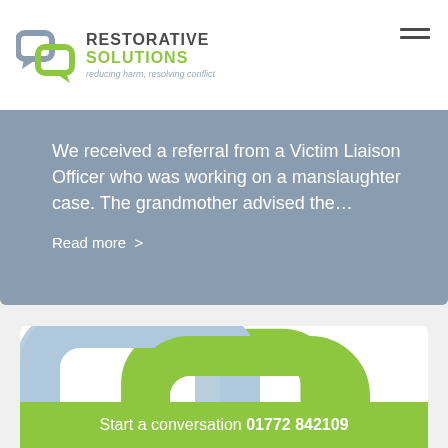RESTORATIVE SOLUTIONS — reducing harm, resolving conflict
We received a referral from a Victim Liaison Officer who was working on a manslaughter case. The grandmother advised the…
Read more >
[Figure (logo): Restorative Solutions large chain-link logo graphic in light blue and green]
Start a conversation 01772 842109